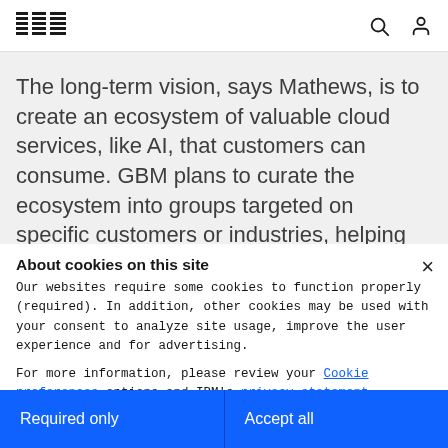IBM [logo] | Search | Account
The long-term vision, says Mathews, is to create an ecosystem of valuable cloud services, like AI, that customers can consume. GBM plans to curate the ecosystem into groups targeted on specific customers or industries, helping shorten and
About cookies on this site
Our websites require some cookies to function properly (required). In addition, other cookies may be used with your consent to analyze site usage, improve the user experience and for advertising.
For more information, please review your Cookie preferences options and IBM's privacy statement.
Required only
Accept all